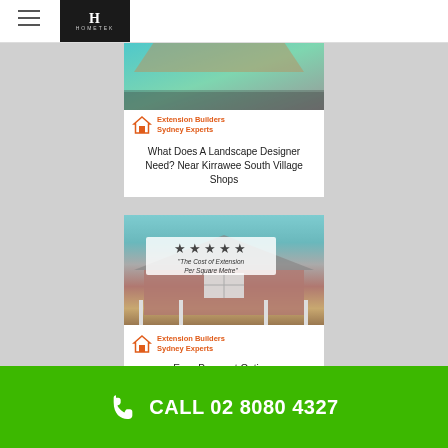Hometek menu header
[Figure (photo): Card image showing landscape/teal colored outdoor area for 'Extension Builders Sydney Experts']
Extension Builders Sydney Experts
What Does A Landscape Designer Need? Near Kirrawee South Village Shops
[Figure (photo): Card image showing a brick house extension with covered patio, overlaid with stars and quote 'The Cost of Extension Per Square Metre']
Extension Builders Sydney Experts
Easy Payment Options
CALL 02 8080 4327